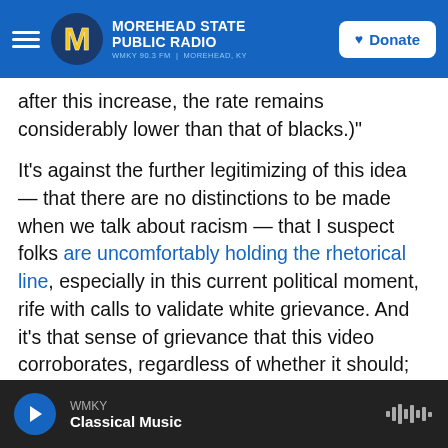MOREHEAD STATE PUBLIC RADIO | WMKY 90.3 FM | MOREHEAD, KY | Donate
after this increase, the rate remains considerably lower than that of blacks.)"
It's against the further legitimizing of this idea — that there are no distinctions to be made when we talk about racism — that I suspect folks are uncomfortably holding the rhetorical line, especially in this current political moment, rife with calls to validate white grievance. And it's that sense of grievance that this video corroborates, regardless of whether it should; regardless of how poorly it's contextualized.
Not that epistemology matters terribly much to the
WMKY | Classical Music